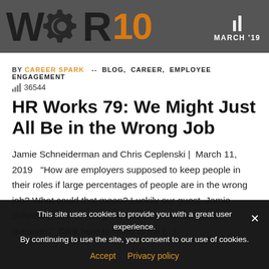[Figure (illustration): Website header banner with logo text, gear icon, pause/play bars and MARCH '19 text on dark background]
BY CAREER SPARK  --  BLOG, CAREER, EMPLOYEE ENGAGEMENT
36544
HR Works 79: We Might Just All Be in the Wrong Job
Jamie Schneiderman and Chris Ceplenski |  March 11, 2019   "How are employers supposed to keep people in their roles if large percentages of people are in the wrong job? What could that mean? Luckily our guest, Jamie Schneiderman is in a great position to answer that question."  Click here to listen to the [...]
This site uses cookies to provide you with a great user experience. By continuing to use the site, you consent to our use of cookies.
Accept  Privacy policy